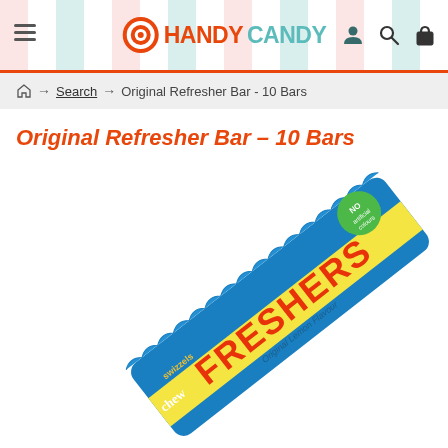HANDY CANDY
Home → Search → Original Refresher Bar - 10 Bars
Original Refresher Bar – 10 Bars
[Figure (photo): A Swizzels Freshers Original Lemon Flavour chew bar in blue and yellow packaging, shown at a diagonal angle on a white background. The wrapper displays 'FRESHERS' in large red letters.]